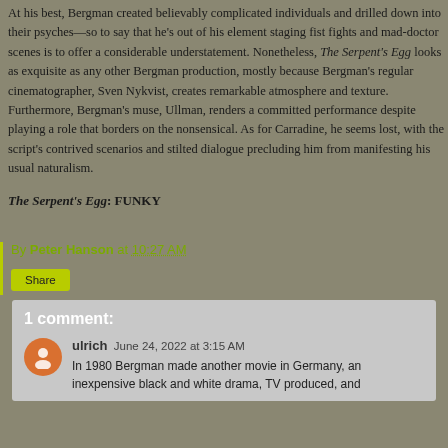At his best, Bergman created believably complicated individuals and drilled down into their psyches—so to say that he's out of his element staging fist fights and mad-doctor scenes is to offer a considerable understatement. Nonetheless, The Serpent's Egg looks as exquisite as any other Bergman production, mostly because Bergman's regular cinematographer, Sven Nykvist, creates remarkable atmosphere and texture. Furthermore, Bergman's muse, Ullman, renders a committed performance despite playing a role that borders on the nonsensical. As for Carradine, he seems lost, with the script's contrived scenarios and stilted dialogue precluding him from manifesting his usual naturalism.
The Serpent's Egg: FUNKY
By Peter Hanson at 10:27 AM
Share
1 comment:
ulrich June 24, 2022 at 3:15 AM
In 1980 Bergman made another movie in Germany, an inexpensive black and white drama, TV produced, and